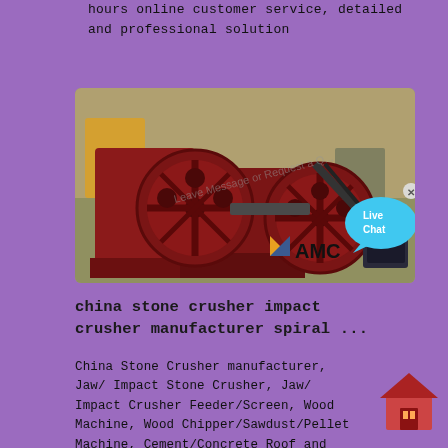hours online customer service, detailed and professional solution
[Figure (photo): Industrial jaw crusher with large red flywheel and drive motor, AMC brand logo visible, with Live Chat overlay bubble]
china stone crusher impact crusher manufacturer spiral ...
China Stone Crusher manufacturer, Jaw/ Impact Stone Crusher, Jaw/ Impact Crusher Feeder/Screen, Wood Machine, Wood Chipper/Sawdust/Pellet Machine, Cement/Concrete Roof and Floor Tile Mach, Industry